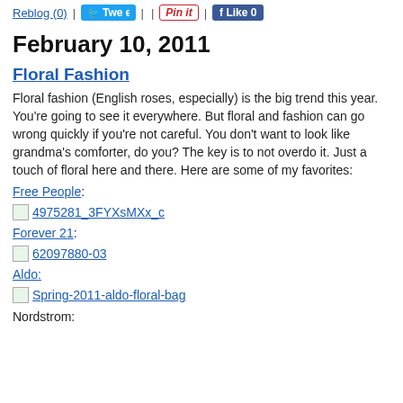Reblog (0) | Tweet | | Pin it | Like 0
February 10, 2011
Floral Fashion
Floral fashion (English roses, especially) is the big trend this year. You're going to see it everywhere. But floral and fashion can go wrong quickly if you're not careful. You don't want to look like grandma's comforter, do you? The key is to not overdo it. Just a touch of floral here and there. Here are some of my favorites:
Free People:
[Figure (photo): Image placeholder for 4975281_3FYXsMXx_c]
Forever 21:
[Figure (photo): Image placeholder for 62097880-03]
Aldo:
[Figure (photo): Image placeholder for Spring-2011-aldo-floral-bag]
Nordstrom: